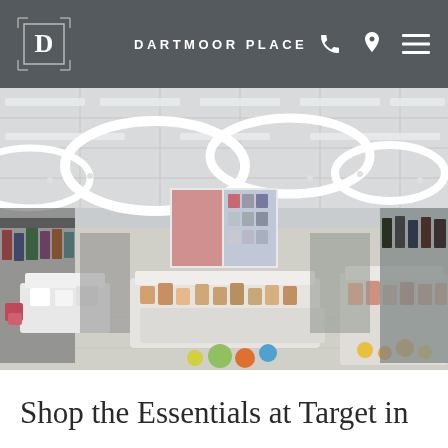DARTMOOR PLACE
[Figure (photo): Interior of a large retail store (Target) with circular ring lights hanging from ceiling, clothing racks, display tables with accessories and products, and fashion advertisement panels in background]
Shop the Essentials at Target in